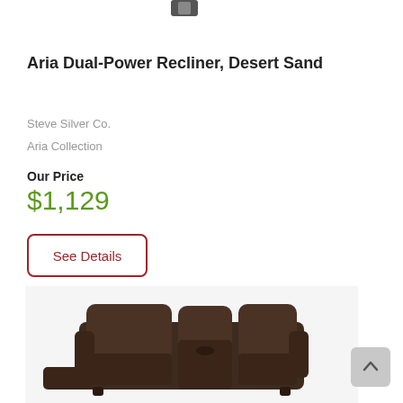[Figure (photo): Partial top image, small decorative element at top of page]
Aria Dual-Power Recliner, Desert Sand
Steve Silver Co.
Aria Collection
Our Price
$1,129
See Details
[Figure (photo): Photo of a dark brown leather dual recliner loveseat with center console]